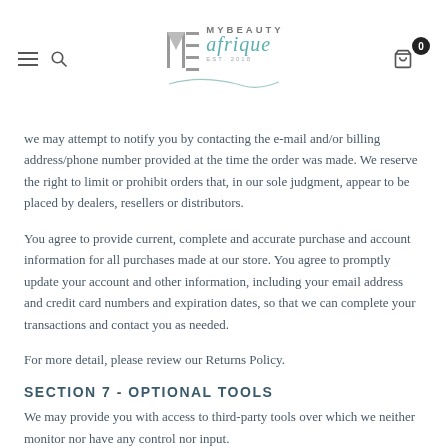MyBeauty Afrique
we may attempt to notify you by contacting the e-mail and/or billing address/phone number provided at the time the order was made. We reserve the right to limit or prohibit orders that, in our sole judgment, appear to be placed by dealers, resellers or distributors.
You agree to provide current, complete and accurate purchase and account information for all purchases made at our store. You agree to promptly update your account and other information, including your email address and credit card numbers and expiration dates, so that we can complete your transactions and contact you as needed.
For more detail, please review our Returns Policy.
SECTION 7 - OPTIONAL TOOLS
We may provide you with access to third-party tools over which we neither monitor nor have any control nor input.